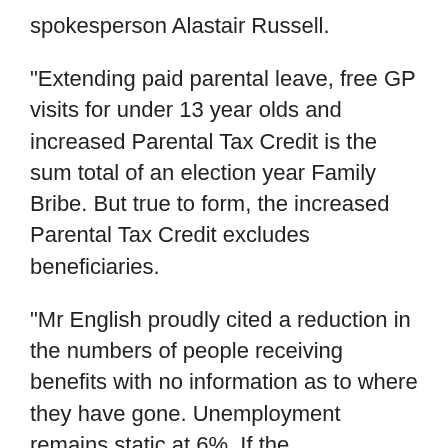spokesperson Alastair Russell.
“Extending paid parental leave, free GP visits for under 13 year olds and increased Parental Tax Credit is the sum total of an election year Family Bribe. But true to form, the increased Parental Tax Credit excludes beneficiaries.
“Mr English proudly cited a reduction in the numbers of people receiving benefits with no information as to where they have gone. Unemployment remains static at 6%. If the unemployment rate has not lowered, then where are the unemployed now getting their income from?” asks Mr Russell.
“$20 million for an additional 6000 apprenticeships is the sum total of National’s ‘unrelenting focus on